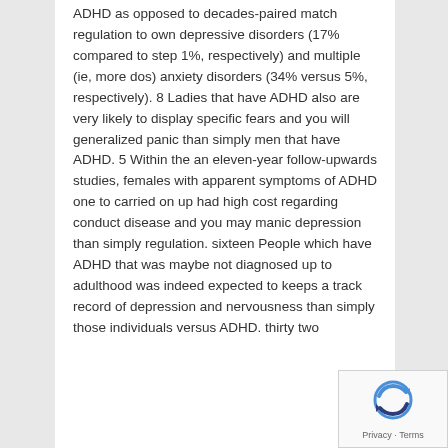ADHD as opposed to decades-paired match regulation to own depressive disorders (17% compared to step 1%, respectively) and multiple (ie, more dos) anxiety disorders (34% versus 5%, respectively). 8 Ladies that have ADHD also are very likely to display specific fears and you will generalized panic than simply men that have ADHD. 5 Within the an eleven-year follow-upwards studies, females with apparent symptoms of ADHD one to carried on up had high cost regarding conduct disease and you may manic depression than simply regulation. sixteen People which have ADHD that was maybe not diagnosed up to adulthood was indeed expected to keeps a track record of depression and nervousness than simply those individuals versus ADHD. thirty two
[Figure (logo): reCAPTCHA logo with Privacy and Terms text]